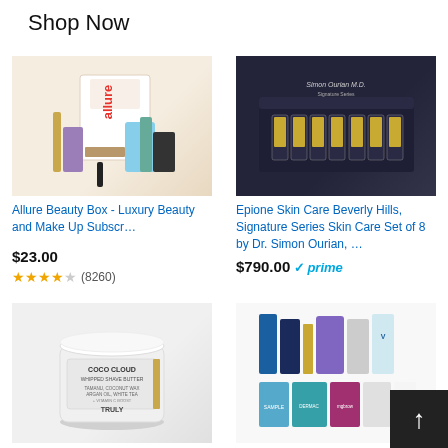Shop Now
[Figure (photo): Allure Beauty Box product image showing cosmetics and beauty products with allure bag]
Allure Beauty Box - Luxury Beauty and Make Up Subscr…
$23.00
★★★★☆ (8260)
[Figure (photo): Epione Skin Care Beverly Hills Signature Series Skin Care Set of 8 by Dr. Simon Ourian - dark box with gold vials]
Epione Skin Care Beverly Hills, Signature Series Skin Care Set of 8 by Dr. Simon Ourian, …
$790.00 ✓prime
[Figure (photo): Truly Coco Cloud Whipped Shave Butter 4 oz jar with white lid]
Truly Coco Cloud Luxury Shave Butter 4 Oz! Infused With Coco…
[Figure (photo): Luxury Skin Care Sample Box with various skincare product samples]
Luxury Skin Care Sample Bo…